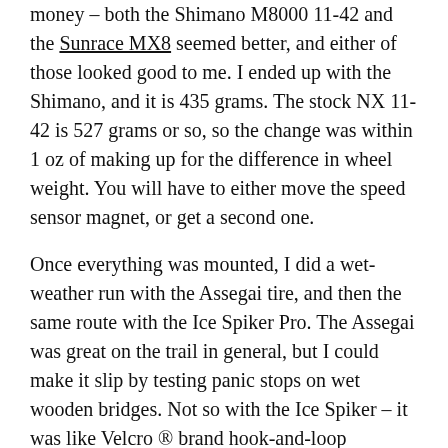money – both the Shimano M8000 11-42 and the Sunrace MX8 seemed better, and either of those looked good to me. I ended up with the Shimano, and it is 435 grams. The stock NX 11-42 is 527 grams or so, so the change was within 1 oz of making up for the difference in wheel weight. You will have to either move the speed sensor magnet, or get a second one.

Once everything was mounted, I did a wet-weather run with the Assegai tire, and then the same route with the Ice Spiker Pro. The Assegai was great on the trail in general, but I could make it slip by testing panic stops on wet wooden bridges. Not so with the Ice Spiker – it was like Velcro ® brand hook-and-loop fasteners even on wet bridges. Shifting stayed indexed on both cassettes, and after some adjustment, either rotor worked with no rub. The same brake lever Deslackinators worked fine as well. I will warn that had I tried to go to a 46-tooth cassette, the chain might not be long enough to continue to work